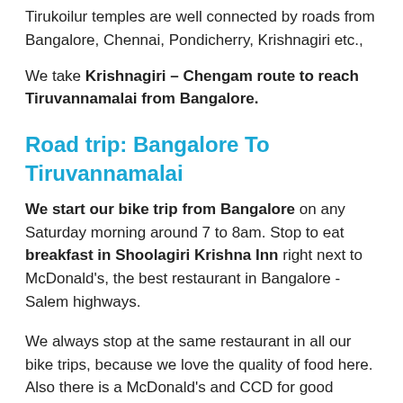Tirukoilur temples are well connected by roads from Bangalore, Chennai, Pondicherry, Krishnagiri etc.,
We take Krishnagiri – Chengam route to reach Tiruvannamalai from Bangalore.
Road trip: Bangalore To Tiruvannamalai
We start our bike trip from Bangalore on any Saturday morning around 7 to 8am. Stop to eat breakfast in Shoolagiri Krishna Inn right next to McDonald's, the best restaurant in Bangalore -Salem highways.
We always stop at the same restaurant in all our bike trips, because we love the quality of food here. Also there is a McDonald's and CCD for good morning coffee and neat toilet facilities.
Then we ride bike leisurely to Tiruvannamalai, reach